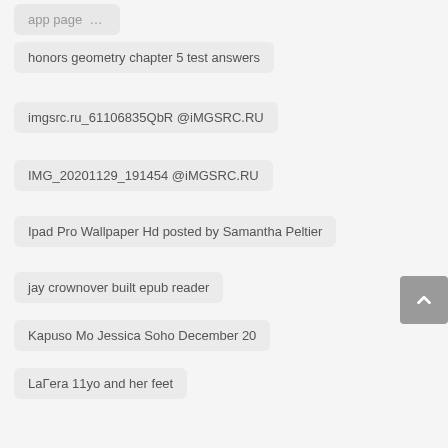honors geometry chapter 5 test answers
imgsrc.ru_61106835QbR @iMGSRC.RU
IMG_20201129_191454 @iMGSRC.RU
Ipad Pro Wallpaper Hd posted by Samantha Peltier
jay crownover built epub reader
Kapuso Mo Jessica Soho December 20
LaΓera 11yo and her feet
Manatees Wallpapers posted by Michelle Thompson
My Tree. My Neighbor.
NASCAR Racehub Live Streams
nortenos-shooting
Rikki e Isabel
Sasha
Sweet boy Noah
Sweet Ones (Boys In Speedos 4)